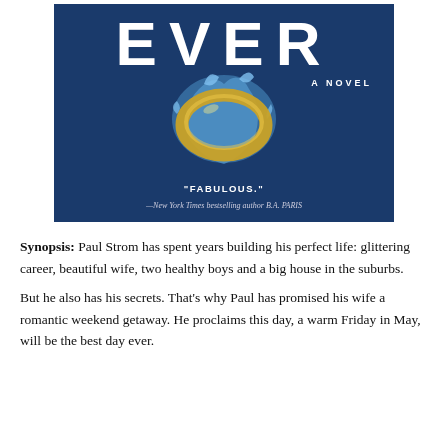[Figure (illustration): Book cover showing the word EVER in large white letters on a dark blue background, with a gold wedding ring and water splash in the center, text 'A NOVEL', quote 'FABULOUS.' and attribution '—New York Times bestselling author B.A. PARIS']
Synopsis: Paul Strom has spent years building his perfect life: glittering career, beautiful wife, two healthy boys and a big house in the suburbs.
But he also has his secrets. That's why Paul has promised his wife a romantic weekend getaway. He proclaims this day, a warm Friday in May, will be the best day ever.